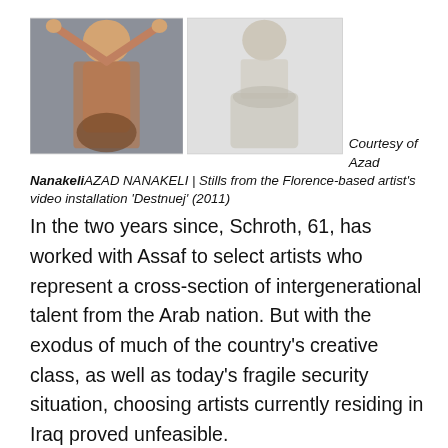[Figure (photo): Two photographs side by side: left shows a shirtless man with arms raised against a grey background; right shows a pencil sketch or faded image of a figure in white draped cloth]
Courtesy of Azad NanakeliAZAD NANAKELI | Stills from the Florence-based artist's video installation 'Destnuej' (2011)
In the two years since, Schroth, 61, has worked with Assaf to select artists who represent a cross-section of intergenerational talent from the Arab nation. But with the exodus of much of the country's creative class, as well as today's fragile security situation, choosing artists currently residing in Iraq proved unfeasible.
“Getting Iraqi artists [who live in Iraq] is not an easy job,” says Iraq’s ambassador to the U.N. agencies in Rome, Hassan Janabi. “It could be tedious and possibly create